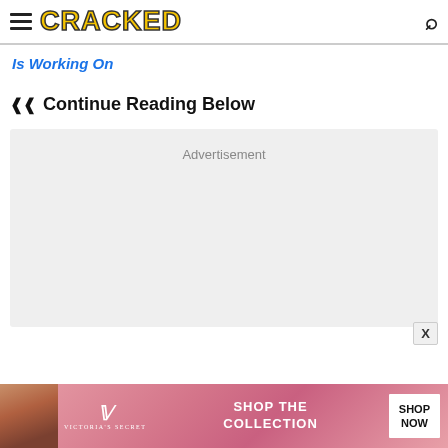CRACKED
Is Working On
Continue Reading Below
[Figure (other): Advertisement placeholder block with light gray background]
[Figure (other): Victoria's Secret advertisement banner with model photo, VS logo, 'SHOP THE COLLECTION' text, and 'SHOP NOW' button]